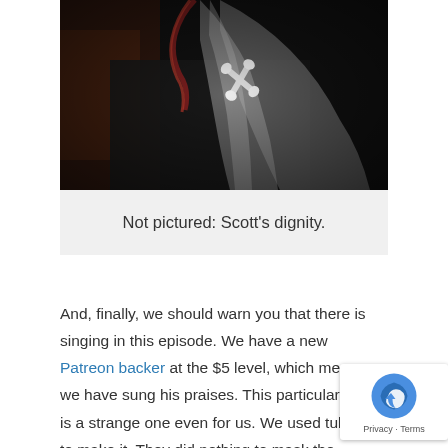[Figure (photo): Close-up photograph of a person with long gray hair and braids, with a bone-shaped hair accessory visible. Person is wearing a dark jacket. Dark, moody lighting.]
Not pictured: Scott's dignity.
And, finally, we should warn you that there is singing in this episode. We have a new Patreon backer at the $5 level, which means we have sung his praises. This particular song is a strange one even for us. We used tubes to make it. They did nothing to mask the horror.